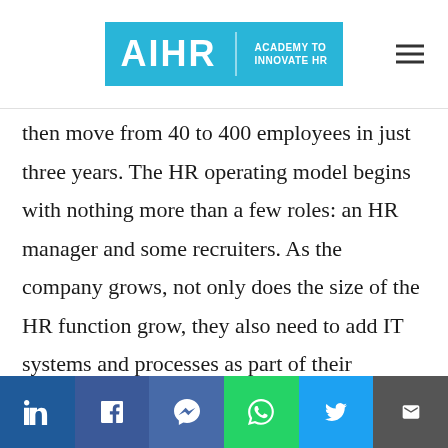AIHR | ACADEMY TO INNOVATE HR
then move from 40 to 400 employees in just three years. The HR operating model begins with nothing more than a few roles: an HR manager and some recruiters. As the company grows, not only does the size of the HR function grow, they also need to add IT systems and processes as part of their operating model. With the company growing further, the HR function becomes more hierarchical. It adds a level of management between the head of HR and the HR
Social share bar: LinkedIn, Facebook, Messenger, WhatsApp, Twitter, Email